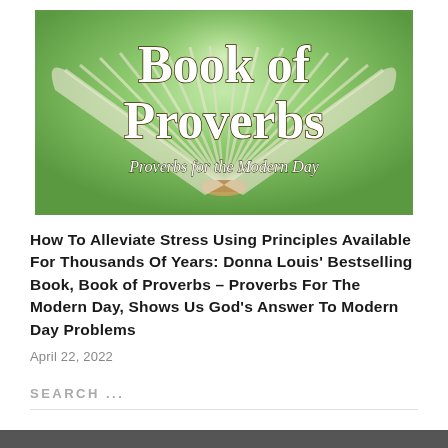[Figure (illustration): Book of Proverbs book cover image showing an open book with pages fanning out against a green glowing background. Large white serif text reads 'Book of Proverbs' and italic subtitle reads 'Proverbs for the Modern Day'.]
How To Alleviate Stress Using Principles Available For Thousands Of Years: Donna Louis' Bestselling Book, Book of Proverbs – Proverbs For The Modern Day, Shows Us God's Answer To Modern Day Problems
April 22, 2022
SEARCH ...